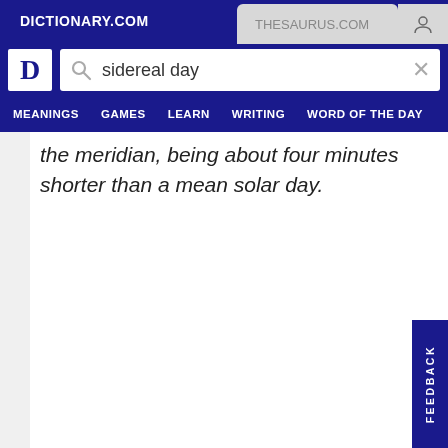DICTIONARY.COM | THESAURUS.COM
[Figure (screenshot): Dictionary.com logo (D icon in white box on blue background) with search bar containing 'sidereal day' and a clear X button]
MEANINGS | GAMES | LEARN | WRITING | WORD OF THE DAY
the meridian, being about four minutes shorter than a mean solar day.